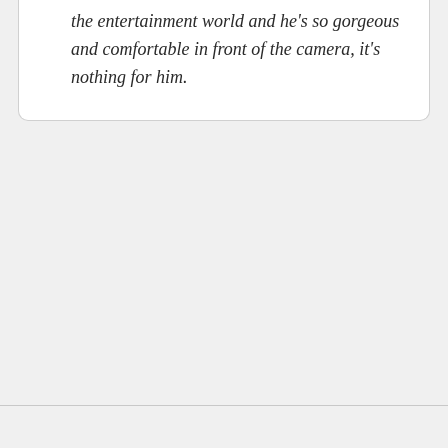the entertainment world and he's so gorgeous and comfortable in front of the camera, it's nothing for him.